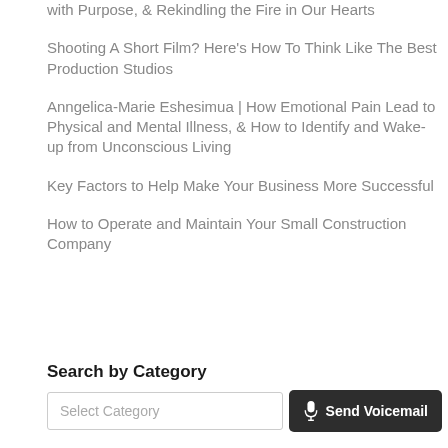with Purpose, & Rekindling the Fire in Our Hearts
Shooting A Short Film? Here's How To Think Like The Best Production Studios
Anngelica-Marie Eshesimua | How Emotional Pain Lead to Physical and Mental Illness, & How to Identify and Wake-up from Unconscious Living
Key Factors to Help Make Your Business More Successful
How to Operate and Maintain Your Small Construction Company
Search by Category
Select Category